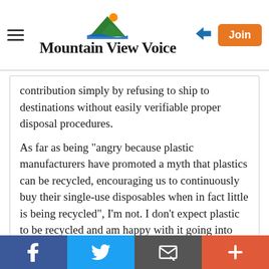Mountain View Voice
contribution simply by refusing to ship to destinations without easily verifiable proper disposal procedures.
As far as being "angry because plastic manufacturers have promoted a myth that plastics can be recycled, encouraging us to continuously buy their single-use disposables when in fact little is being recycled", I'm not. I don't expect plastic to be recycled and am happy with it going into US landfills, so any myth seems irrelevant to me. Let's create solutions rather than anger.
Report Objectionable Content
Posted by Michael Austin , a resident of Pleasanton
Facebook | Twitter | Email | Plus